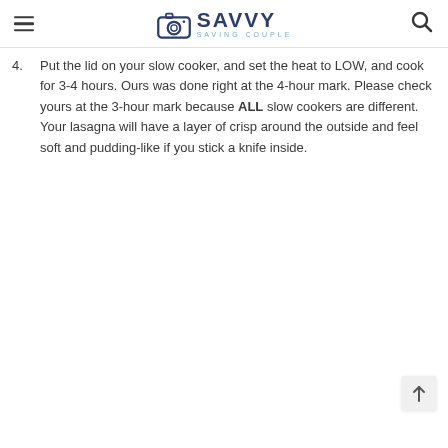SAVVY SAVING COUPLE
4. Put the lid on your slow cooker, and set the heat to LOW, and cook for 3-4 hours. Ours was done right at the 4-hour mark. Please check yours at the 3-hour mark because ALL slow cookers are different. Your lasagna will have a layer of crisp around the outside and feel soft and pudding-like if you stick a knife inside.